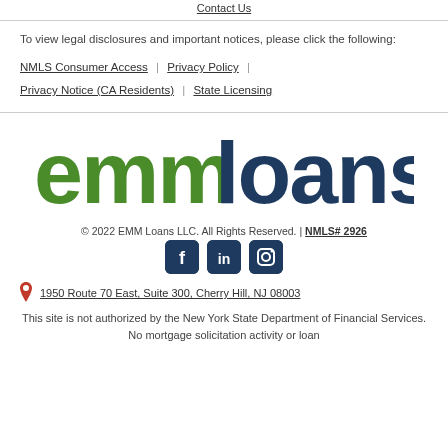Contact Us
To view legal disclosures and important notices, please click the following:
NMLS Consumer Access | Privacy Policy | Privacy Notice (CA Residents) | State Licensing
[Figure (logo): EMM Loans logo — 'emm' in green bold lowercase, 'loans' in dark navy bold lowercase]
© 2022 EMM Loans LLC. All Rights Reserved. | NMLS# 2926
[Figure (illustration): Three dark navy rounded-square social media icons: Facebook, LinkedIn, Instagram]
1950 Route 70 East, Suite 300, Cherry Hill, NJ 08003
This site is not authorized by the New York State Department of Financial Services. No mortgage solicitation activity or loan